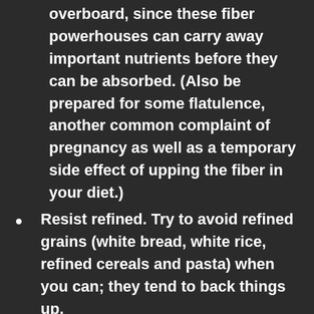overboard, since these fiber powerhouses can carry away important nutrients before they can be absorbed. (Also be prepared for some flatulence, another common complaint of pregnancy as well as a temporary side effect of upping the fiber in your diet.)
Resist refined. Try to avoid refined grains (white bread, white rice, refined cereals and pasta) when you can; they tend to back things up.
Drink up.Downing between eight and 10 8-ounce glasses of fluids (water, vegetable or fruit juice and broth) every day keeps solids moving through your digestive tract and makes your stool soft and easier to pass. You can also turn to warm liquids, including that health spa staple, hot water and lemon, to help stimulate peristalsis (the intestinal contractions that